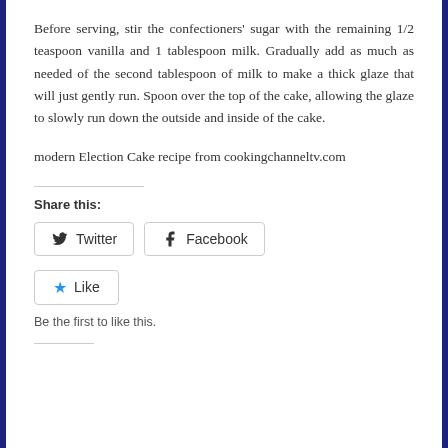Before serving, stir the confectioners' sugar with the remaining 1/2 teaspoon vanilla and 1 tablespoon milk. Gradually add as much as needed of the second tablespoon of milk to make a thick glaze that will just gently run. Spoon over the top of the cake, allowing the glaze to slowly run down the outside and inside of the cake.
modern Election Cake recipe from cookingchanneltv.com
Share this:
Twitter
Facebook
Like
Be the first to like this.